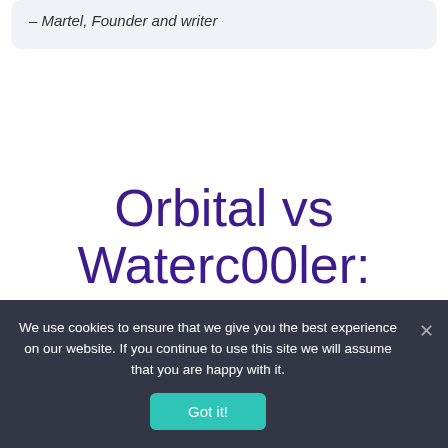– Martel, Founder and writer
Orbital vs Waterc00ler: Which is right for me?
We use cookies to ensure that we give you the best experience on our website. If you continue to use this site we will assume that you are happy with it.
Got it!